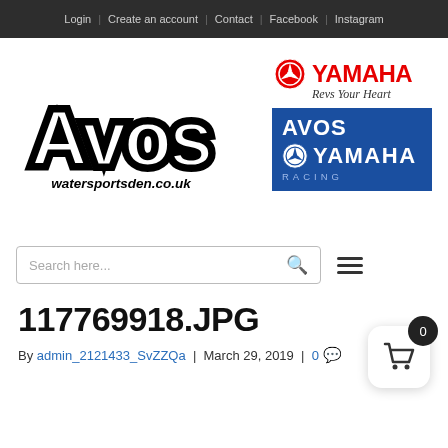Login | Create an account | Contact | Facebook | Instagram
[Figure (logo): Avos watersportsden.co.uk logo - large stylized bubble letters in black and white]
[Figure (logo): Yamaha logo with tuning fork emblem in red and text YAMAHA in red, Revs Your Heart tagline in italic]
[Figure (logo): Avos Yamaha Racing logo - blue box with Avos text in white and Yamaha Racing text with tuning fork emblem]
Search here...
117769918.JPG
By admin_2121433_SvZZQa | March 29, 2019 | 0